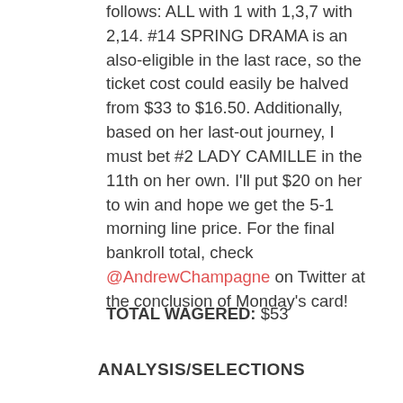follows: ALL with 1 with 1,3,7 with 2,14. #14 SPRING DRAMA is an also-eligible in the last race, so the ticket cost could easily be halved from $33 to $16.50. Additionally, based on her last-out journey, I must bet #2 LADY CAMILLE in the 11th on her own. I'll put $20 on her to win and hope we get the 5-1 morning line price. For the final bankroll total, check @AndrewChampagne on Twitter at the conclusion of Monday's card!
TOTAL WAGERED: $53
ANALYSIS/SELECTIONS